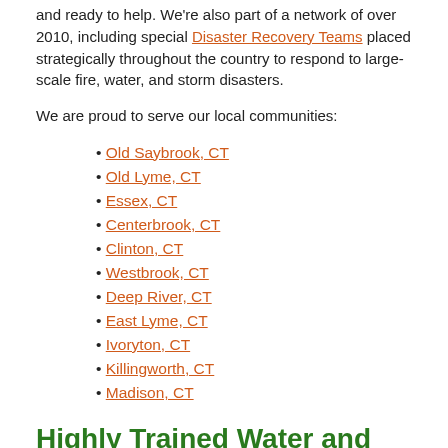and ready to help. We're also part of a network of over 2010, including special Disaster Recovery Teams placed strategically throughout the country to respond to large-scale fire, water, and storm disasters.
We are proud to serve our local communities:
Old Saybrook, CT
Old Lyme, CT
Essex, CT
Centerbrook, CT
Clinton, CT
Westbrook, CT
Deep River, CT
East Lyme, CT
Ivoryton, CT
Killingworth, CT
Madison, CT
Highly Trained Water and Mold Restoration Specialists
As water and mold damage specialists, we have the experience, the expertise, and the advanced training that